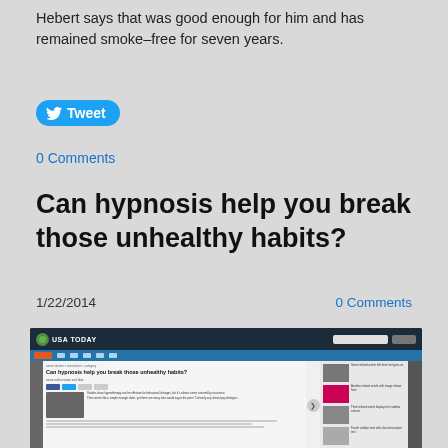Hebert says that was good enough for him and has remained smoke-free for seven years.
[Figure (other): Twitter Tweet button (blue, rounded, with bird icon)]
0 Comments
Can hypnosis help you break those unhealthy habits?
1/22/2014
0 Comments
[Figure (screenshot): Screenshot of a USA Today article page titled 'Can hypnosis help you break those unhealthy habits?' showing the article layout with navigation bar, article text, image, and sidebar with related articles.]